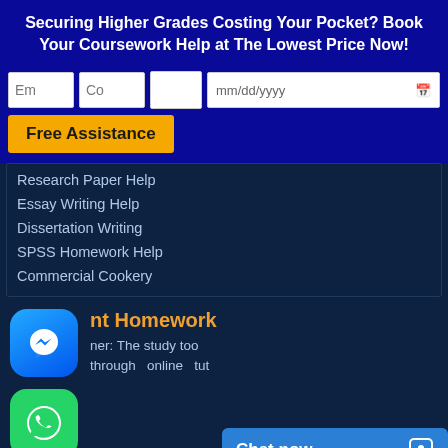Securing Higher Grades Costing Your Pocket? Book Your Coursework Help at The Lowest Price Now!
[Figure (screenshot): Web form with input fields (Em, Co, blank, mm/dd/yyyy with calendar icon) and a yellow Free Assistance button]
Research Paper Help
Essay Writing Help
Dissertation Writing
SPSS Homework Help
Commercial Cookery
[Figure (logo): Facebook Messenger icon bubble (blue rounded square with white lightning bolt messenger logo)]
[Figure (logo): WhatsApp icon bubble (green rounded square with white phone handset logo)]
nt Homework
ner: The study too through online tut
Chat now